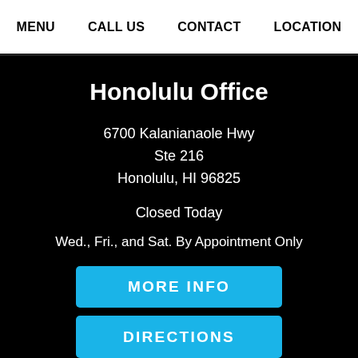MENU   CALL US   CONTACT   LOCATION
Honolulu Office
6700 Kalanianaole Hwy
Ste 216
Honolulu, HI 96825
Closed Today
Wed., Fri., and Sat. By Appointment Only
MORE INFO
DIRECTIONS